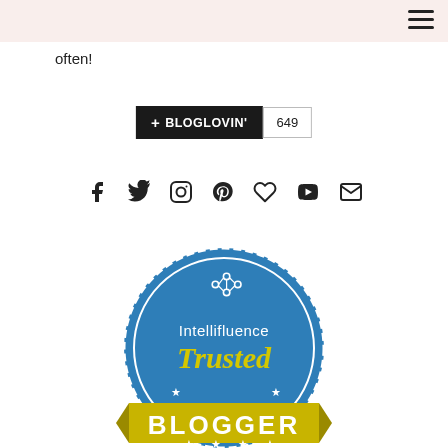often!
[Figure (other): Bloglovin follow button showing +BLOGLOVIN' with count 649]
[Figure (other): Social media icons: Facebook, Twitter, Instagram, Pinterest, heart/Bloglovin, YouTube, Email]
[Figure (other): Intellifluence Trusted Blogger badge - circular blue badge with gold ribbon banner reading BLOGGER]